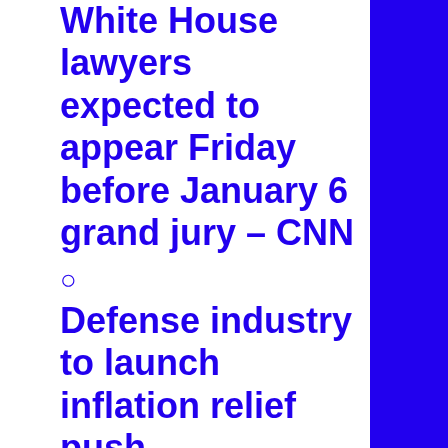White House lawyers expected to appear Friday before January 6 grand jury – CNN
Defense industry to launch inflation relief push